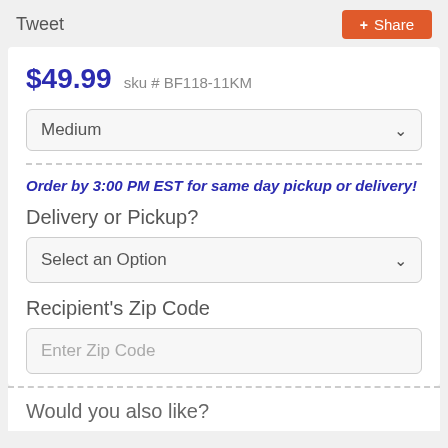Tweet
Share
$49.99  sku # BF118-11KM
Medium
Order by 3:00 PM EST for same day pickup or delivery!
Delivery or Pickup?
Select an Option
Recipient's Zip Code
Enter Zip Code
Would you also like?